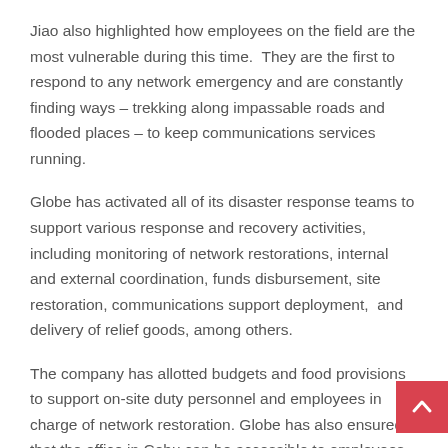Jiao also highlighted how employees on the field are the most vulnerable during this time.  They are the first to respond to any network emergency and are constantly finding ways – trekking along impassable roads and flooded places – to keep communications services running.
Globe has activated all of its disaster response teams to support various response and recovery activities, including monitoring of network restorations, internal and external coordination, funds disbursement, site restoration, communications support deployment,  and delivery of relief goods, among others.
The company has allotted budgets and food provisions to support on-site duty personnel and employees in charge of network restoration. Globe has also ensured that the office in Cebu can be accessible to employees as safe